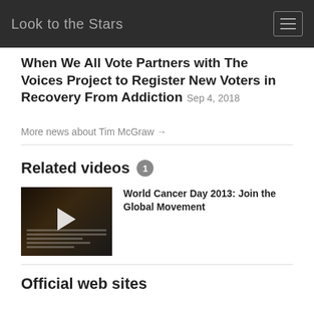Look to the Stars
When We All Vote Partners with The Voices Project to Register New Voters in Recovery From Addiction Sep 4, 2018
More news about Tim McGraw →
Related videos 1
[Figure (screenshot): Video thumbnail showing a person holding a tablet with a play button overlay]
World Cancer Day 2013: Join the Global Movement
Official web sites